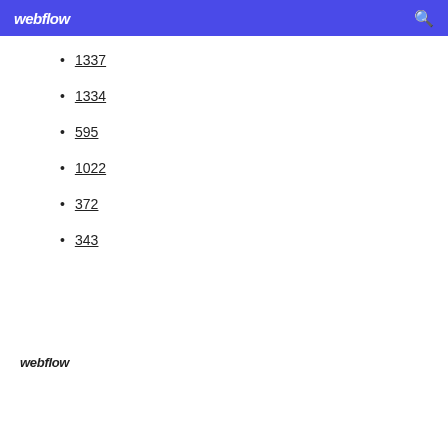webflow
1337
1334
595
1022
372
343
webflow